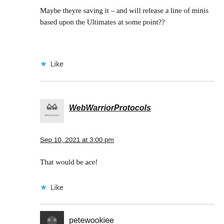Maybe theyre saving it – and will release a line of minis based upon the Ultimates at some point??
Like
WebWarriorProtocols
Sep 10, 2021 at 3:00 pm
That would be ace!
Like
petewookiee